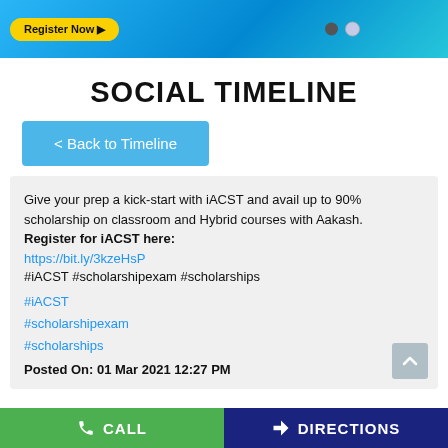[Figure (screenshot): Blue promotional banner with 'Register Now >' yellow button and navigation dots]
SOCIAL TIMELINE
< Back to Timeline
Give your prep a kick-start with iACST and avail up to 90% scholarship on classroom and Hybrid courses with Aakash. Register for iACST here:
https://bit.ly/3kzeHsP
#iACST #scholarshipexam #scholarships

#iACST

#scholarshipexam

#scholarships

Posted On: 01 Mar 2021 12:27 PM
CALL   DIRECTIONS